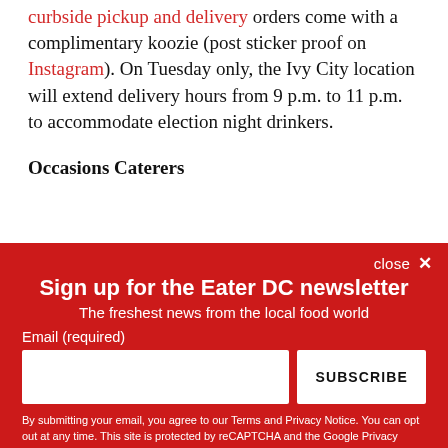curbside pickup and delivery orders come with a complimentary koozie (post sticker proof on Instagram). On Tuesday only, the Ivy City location will extend delivery hours from 9 p.m. to 11 p.m. to accommodate election night drinkers.
Occasions Caterers
close ✕
Sign up for the Eater DC newsletter
The freshest news from the local food world
Email (required)
SUBSCRIBE
By submitting your email, you agree to our Terms and Privacy Notice. You can opt out at any time. This site is protected by reCAPTCHA and the Google Privacy Policy and Terms of Service apply.